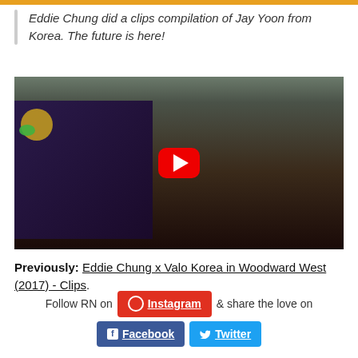[Figure (screenshot): Top decorative bar (gold/orange color)]
Eddie Chung did a clips compilation of Jay Yoon from Korea. The future is here!
[Figure (screenshot): YouTube video thumbnail showing a skate park with a red play button overlay. Scene includes a mural on the left wall and a skater performing a trick.]
Previously: Eddie Chung x Valo Korea in Woodward West (2017) - Clips.
Follow RN on Instagram & share the love on Facebook Twitter